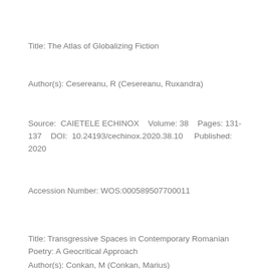Title: The Atlas of Globalizing Fiction
Author(s): Cesereanu, R (Cesereanu, Ruxandra)
Source: CAIETELE ECHINOX   Volume: 38   Pages: 131-137   DOI: 10.24193/cechinox.2020.38.10   Published: 2020
Accession Number: WOS:000589507700011
Title: Transgressive Spaces in Contemporary Romanian Poetry: A Geocritical Approach
Author(s): Conkan, M (Conkan, Marius)